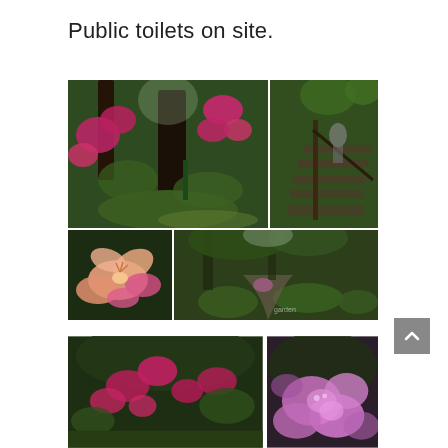Public toilets on site.
[Figure (photo): A collage of five garden photos showing lush green forest paths, pink and magenta rhododendron flowers, tall trees, garden steps with railing, close-up lily flowers, and a mossy garden path.]
[Figure (photo): Two garden photos: left shows magenta flowering shrubs against green foliage, right shows large pink rhododendron blooms.]